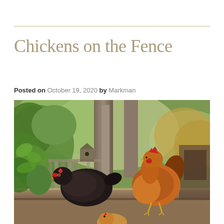Chickens on the Fence
Posted on October 19, 2020 by Markman
[Figure (photo): Two chickens perched on a wooden fence rail in a backyard garden setting. A dark/black chicken is on the left and a brown/auburn chicken stands upright on the right. Green leafy trees and a weathered wooden fence are visible in the background. A third smaller chicken is partially visible at the bottom center.]